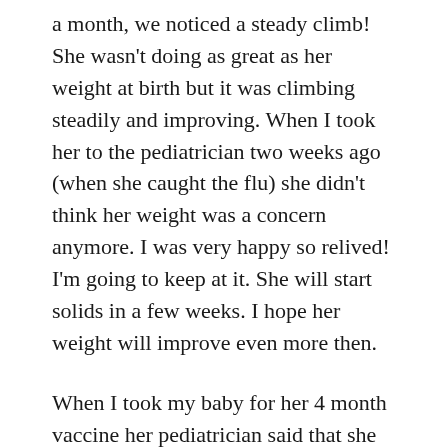a month, we noticed a steady climb! She wasn't doing as great as her weight at birth but it was climbing steadily and improving. When I took her to the pediatrician two weeks ago (when she caught the flu) she didn't think her weight was a concern anymore. I was very happy so relived! I'm going to keep at it. She will start solids in a few weeks. I hope her weight will improve even more then.
When I took my baby for her 4 month vaccine her pediatrician said that she is not gaining weight fast enough. And even though she was still in the lower green percentile (and not in the underweight zone) it was worrying because she might begin to drop to the orange/red range if she continued